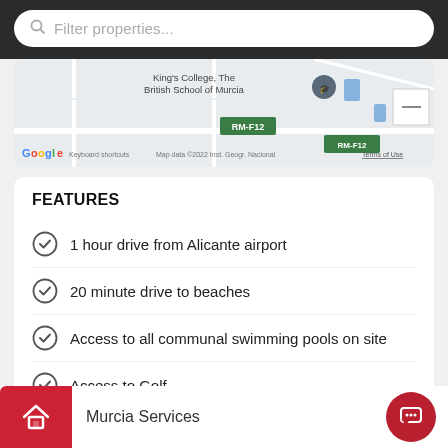[Figure (screenshot): Search bar with placeholder text 'Filter properties...' on dark background]
[Figure (map): Google Maps snippet showing King's College, The British School of Murcia, with road labels RM-F12 and map data attribution to 2022 Inst. Geogr. Nacional]
FEATURES
1 hour drive from Alicante airport
20 minute drive to beaches
Access to all communal swimming pools on site
Access to Golf
Murcia Services